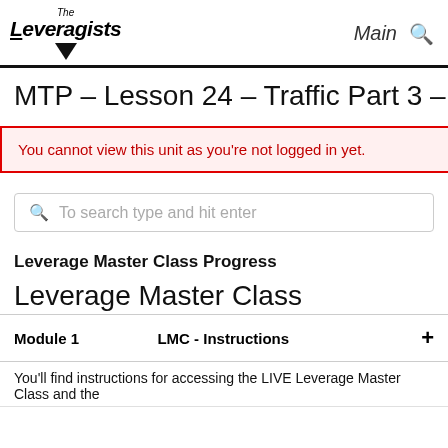The Leveragists — Main (navigation)
MTP – Lesson 24 – Traffic Part 3 – Linked
You cannot view this unit as you're not logged in yet.
To search type and hit enter
Leverage Master Class Progress
Leverage Master Class
| Module 1 | LMC - Instructions | + |
| --- | --- | --- |
| You'll find instructions for accessing the LIVE Leverage Master Class and the |  |  |